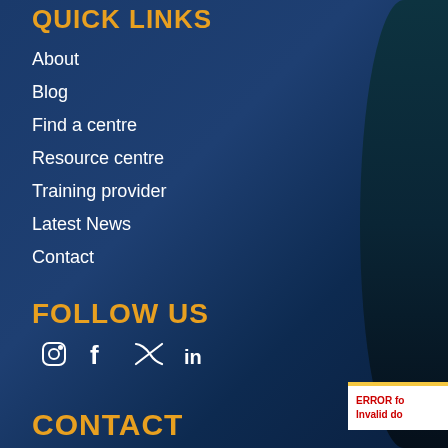QUICK LINKS
About
Blog
Find a centre
Resource centre
Training provider
Latest News
Contact
FOLLOW US
[Figure (other): Social media icons: Instagram, Facebook, Twitter/X, LinkedIn]
CONTACT
ERROR for site owner: Invalid domain for site key